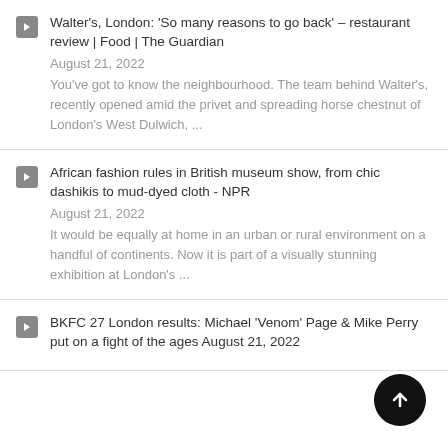Walter's, London: 'So many reasons to go back' – restaurant review | Food | The Guardian
August 21, 2022
You've got to know the neighbourhood. The team behind Walter's, recently opened amid the privet and spreading horse chestnut of London's West Dulwich, ...
African fashion rules in British museum show, from chic dashikis to mud-dyed cloth - NPR
August 21, 2022
It would be equally at home in an urban or rural environment on a handful of continents. Now it is part of a visually stunning exhibition at London's ...
BKFC 27 London results: Michael 'Venom' Page & Mike Perry put on a fight of the ages August 21, 2022